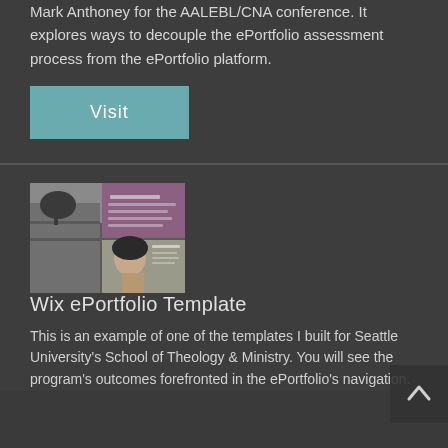Mark Anthoney for the AALEBL/CNA conference. It explores ways to decouple the ePortfolio assessment process from the ePortfolio platform.
Visit
[Figure (screenshot): Screenshot of a Wix ePortfolio template showing a building and a woman's portrait]
Wix ePortfolio Template
This is an example of one of the templates I built for Seattle University's School of Theology & Ministry. You will see the program's outcomes forefronted in the ePortfolio's navigation.